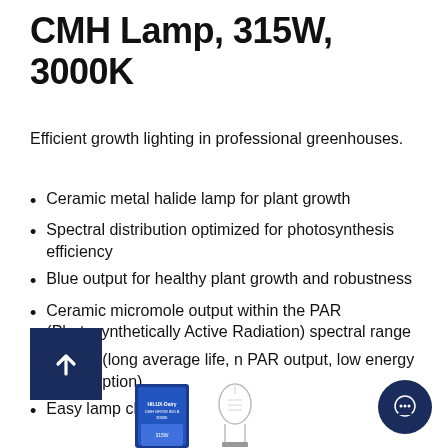CMH Lamp, 315W, 3000K
Efficient growth lighting in professional greenhouses.
Ceramic metal halide lamp for plant growth
Spectral distribution optimized for photosynthesis efficiency
Blue output for healthy plant growth and robustness
Ceramic micromole output within the PAR (Photosynthetically Active Radiation) spectral range
onomic (long average life, n PAR output, low energy consumption)
Easy lamp changes
[Figure (photo): Product image of CMH lamp and packaging at bottom of page]